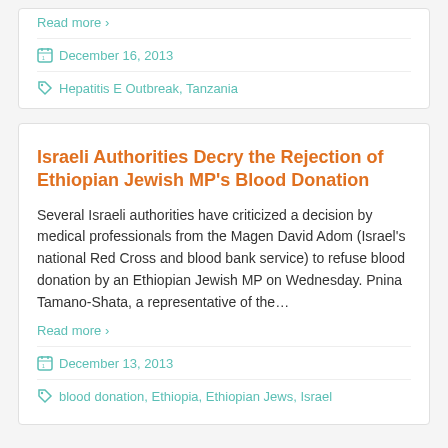Read more ›
December 16, 2013
Hepatitis E Outbreak, Tanzania
Israeli Authorities Decry the Rejection of Ethiopian Jewish MP's Blood Donation
Several Israeli authorities have criticized a decision by medical professionals from the Magen David Adom (Israel's national Red Cross and blood bank service) to refuse blood donation by an Ethiopian Jewish MP on Wednesday. Pnina Tamano-Shata, a representative of the…
Read more ›
December 13, 2013
blood donation, Ethiopia, Ethiopian Jews, Israel